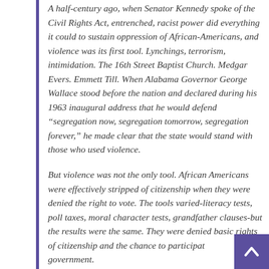A half-century ago, when Senator Kennedy spoke of the Civil Rights Act, entrenched, racist power did everything it could to sustain oppression of African-Americans, and violence was its first tool. Lynchings, terrorism, intimidation. The 16th Street Baptist Church. Medgar Evers. Emmett Till. When Alabama Governor George Wallace stood before the nation and declared during his 1963 inaugural address that he would defend “segregation now, segregation tomorrow, segregation forever,” he made clear that the state would stand with those who used violence.
But violence was not the only tool. African Americans were effectively stripped of citizenship when they were denied the right to vote. The tools varied-literacy tests, poll taxes, moral character tests, grandfather clauses-but the results were the same. They were denied basic rights of citizenship and the chance to participate in self-government.